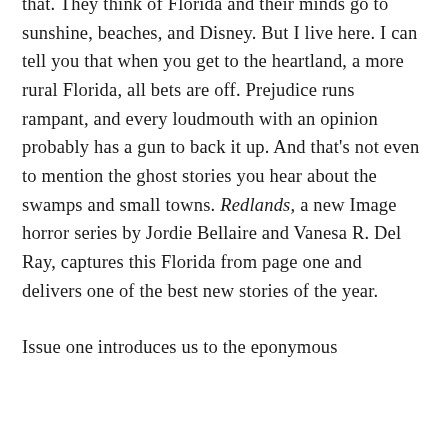that. They think of Florida and their minds go to sunshine, beaches, and Disney. But I live here. I can tell you that when you get to the heartland, a more rural Florida, all bets are off. Prejudice runs rampant, and every loudmouth with an opinion probably has a gun to back it up. And that's not even to mention the ghost stories you hear about the swamps and small towns. Redlands, a new Image horror series by Jordie Bellaire and Vanesa R. Del Ray, captures this Florida from page one and delivers one of the best new stories of the year.
Issue one introduces us to the eponymous